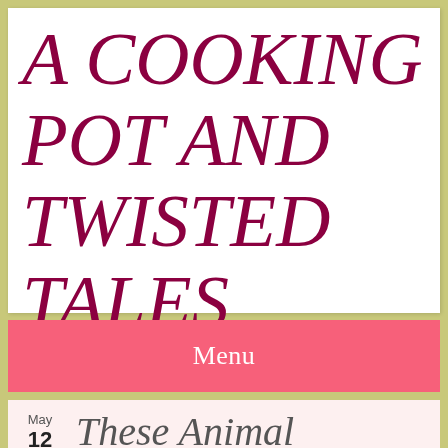A COOKING POT AND TWISTED TALES
Menu
May 12  These Animal